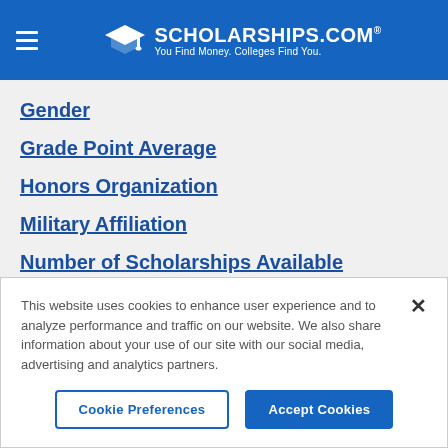SCHOLARSHIPS.COM — You Find Money. Colleges Find You.
Gender
Grade Point Average
Honors Organization
Military Affiliation
Number of Scholarships Available
Physical Disabilities
Race
This website uses cookies to enhance user experience and to analyze performance and traffic on our website. We also share information about your use of our site with our social media, advertising and analytics partners.